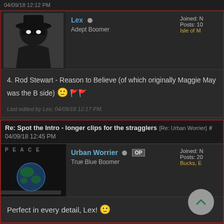04/09/18 12:12 PM
Lex
Adept Boomer
Joined: N
Posts: 10
Isle of M
4. Rod Stewart - Reason to Believe (of which originally Maggie May was the B side) 🙂
Last edited by Lex; 04/09/18 12:17 PM.
Re: Spot the Intro - longer clips for the stragglers [Re: Urban Worrier] #
04/09/18 12:45 PM
Urban Worrier OP
True Blue Boomer
Joined: N
Posts: 20
Bucks, E
Perfect in every detail, Lex! 🙂